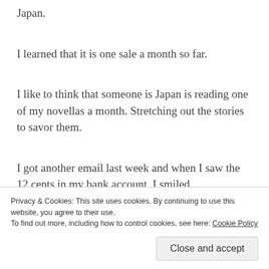Japan.
I learned that it is one sale a month so far.
I like to think that someone is Japan is reading one of my novellas a month. Stretching out the stories to savor them.
I got another email last week and when I saw the 12 cents in my bank account, I smiled.
Privacy & Cookies: This site uses cookies. By continuing to use this website, you agree to their use.
To find out more, including how to control cookies, see here: Cookie Policy
Close and accept